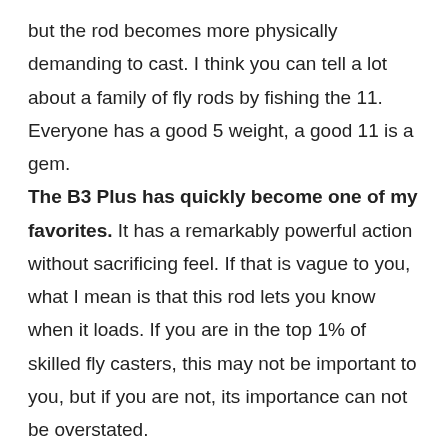but the rod becomes more physically demanding to cast. I think you can tell a lot about a family of fly rods by fishing the 11. Everyone has a good 5 weight, a good 11 is a gem.
The B3 Plus has quickly become one of my favorites. It has a remarkably powerful action without sacrificing feel. If that is vague to you, what I mean is that this rod lets you know when it loads. If you are in the top 1% of skilled fly casters, this may not be important to you, but if you are not, its importance can not be overstated.
We all know that saltwater fly fishing is incredibly challenging. It requires skill that is somewhere between science and magic. It is the kind of fishing where absolutely everything has to come together, including